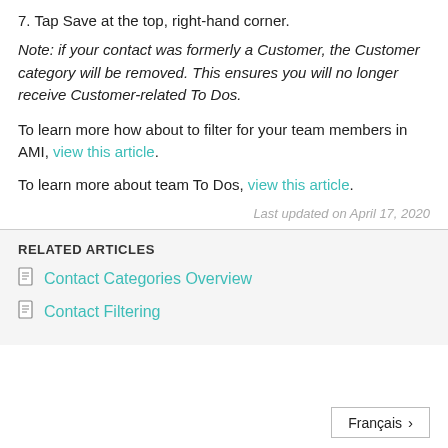7. Tap Save at the top, right-hand corner.
Note: if your contact was formerly a Customer, the Customer category will be removed. This ensures you will no longer receive Customer-related To Dos.
To learn more how about to filter for your team members in AMI, view this article.
To learn more about team To Dos, view this article.
Last updated on April 17, 2020
RELATED ARTICLES
Contact Categories Overview
Contact Filtering